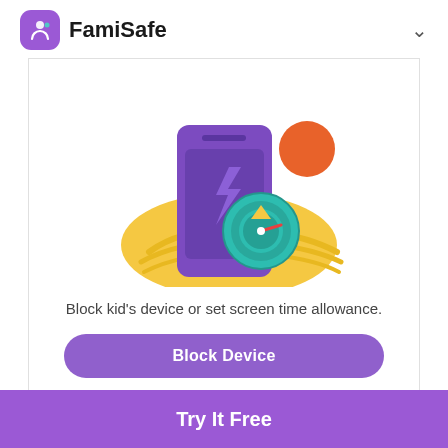FamiSafe
[Figure (illustration): Illustration of a purple smartphone with a lightning bolt icon, a teal timer/clock gauge, a golden/yellow wavy hill shape, and an orange circle, depicting device blocking and screen time management.]
Block kid's device or set screen time allowance.
Block Device
Try It Free